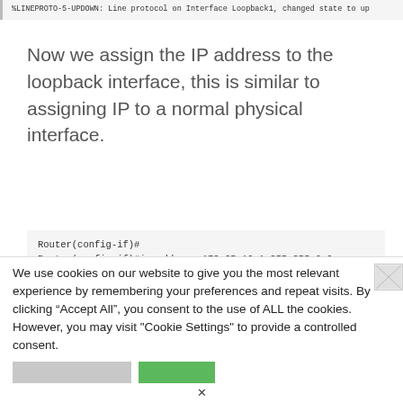%LINEPROTO-5-UPDOWN: Line protocol on Interface Loopback1, changed state to up
Now we assign the IP address to the loopback interface, this is similar to assigning IP to a normal physical interface.
Router(config-if)#
Router(config-if)#ip address 172.25.10.1 255.255.0.0
Router(config-if)#no shut
Router(config-if)#
Router(config-if)#exit
Router(config-if)#
We use cookies on our website to give you the most relevant experience by remembering your preferences and repeat visits. By clicking "Accept All", you consent to the use of ALL the cookies. However, you may visit "Cookie Settings" to provide a controlled consent.